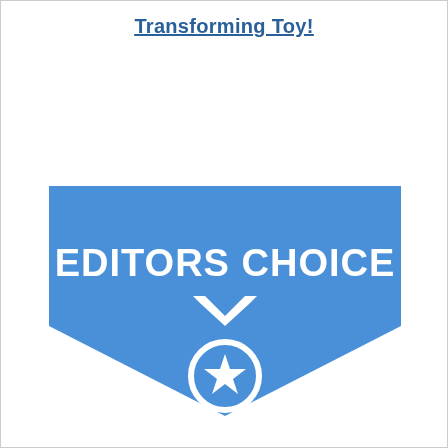Transforming Toy!
[Figure (infographic): Editors Choice badge: a blue pentagon/chevron shape pointing downward with white text 'EDITORS CHOICE' and a white medal/star icon below it.]